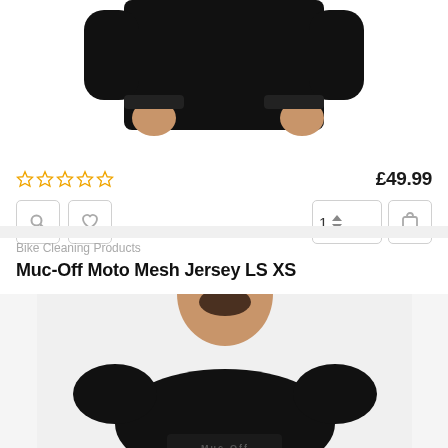[Figure (photo): Top portion of a man wearing a black long-sleeve jersey, showing torso and hands, cropped at the top]
★★★★★ (empty stars rating)
£49.99
[Figure (infographic): Action buttons: search icon, heart/wishlist icon, quantity selector showing 1, and shopping cart icon]
Bike Cleaning Products
Muc-Off Moto Mesh Jersey LS XS
[Figure (photo): Man with dark beard wearing a black Muc-Off jersey, shown from shoulders up, light background]